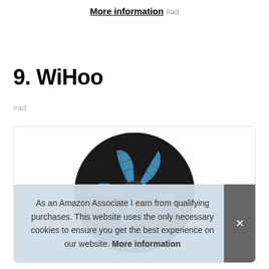More information #ad
9. WiHoo
#ad
[Figure (photo): A WiHoo portable desk fan with black frame and blue fan blades, shown from the front at an angle.]
As an Amazon Associate I earn from qualifying purchases. This website uses the only necessary cookies to ensure you get the best experience on our website. More information